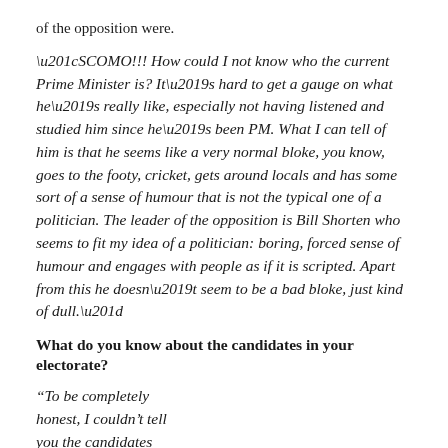of the opposition were.
“SCOMO!!! How could I not know who the current Prime Minister is? It’s hard to get a gauge on what he’s really like, especially not having listened and studied him since he’s been PM. What I can tell of him is that he seems like a very normal bloke, you know, goes to the footy, cricket, gets around locals and has some sort of a sense of humour that is not the typical one of a politician. The leader of the opposition is Bill Shorten who seems to fit my idea of a politician: boring, forced sense of humour and engages with people as if it is scripted. Apart from this he doesn’t seem to be a bad bloke, just kind of dull.”
What do you know about the candidates in your electorate?
“To be completely honest, I couldn’t tell you the candidates